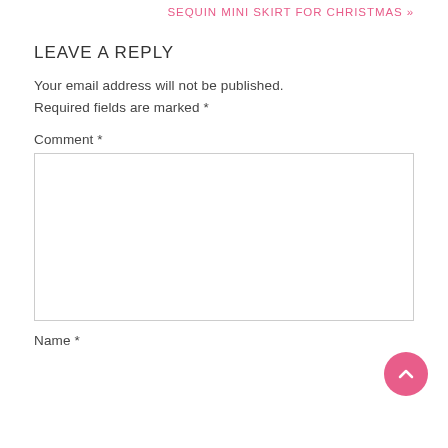SEQUIN MINI SKIRT FOR CHRISTMAS »
LEAVE A REPLY
Your email address will not be published. Required fields are marked *
Comment *
Name *